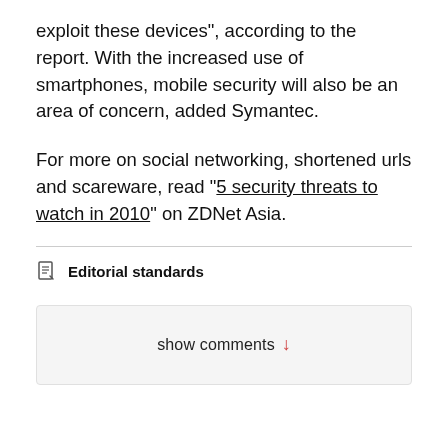exploit these devices", according to the report. With the increased use of smartphones, mobile security will also be an area of concern, added Symantec.
For more on social networking, shortened urls and scareware, read "5 security threats to watch in 2010" on ZDNet Asia.
Editorial standards
show comments